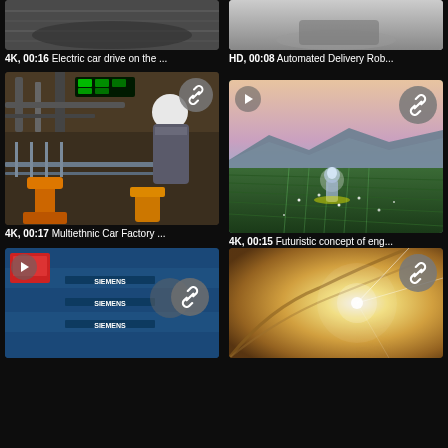[Figure (screenshot): Partial view of electric car driving, blurred motion, dark background, top portion only]
4K, 00:16 Electric car drive on the ...
[Figure (screenshot): Partial view of automated delivery robot on grey surface, HD video thumbnail]
HD, 00:08 Automated Delivery Rob...
[Figure (screenshot): Multiethnic car factory worker in hard hat viewing robotic assembly line with orange robot arms and car frames]
4K, 00:17 Multiethnic Car Factory ...
[Figure (screenshot): Futuristic concept of engineer or agronomist in glowing augmented reality suit standing in green field at dusk with mountains in background]
4K, 00:15 Futuristic concept of eng...
[Figure (screenshot): Siemens branded blue trucks parked in a row with Siemens logos visible, red vehicle accessory visible]
[Figure (screenshot): Abstract close-up of metal surface with bright sunlight lens flare]